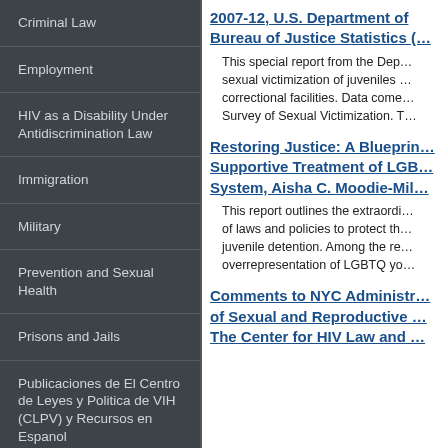Criminal Law
Employment
HIV as a Disability Under Antidiscrimination Law
Immigration
Military
Prevention and Sexual Health
Prisons and Jails
Publicaciones de El Centro de Leyes y Politica de VIH (CLPV) y Recursos en Espanol
2007-12, U.S. Department of Bureau of Justice Statistics (…
This special report from the Dep… sexual victimization of juveniles … correctional facilities. Data come… Survey of Sexual Victimization. T…
Restoring Justice: A Blueprin… Supportive Treatment of LGB… System, Aisha C. Moodie-Mil…
This report outlines the extraordi… of laws and policies to protect th… juvenile detention. Among the re… overrepresentation of LGBTQ yo…
Comments to NYC Administr… of Sexual and Reproductive … The Center for HIV Law and …